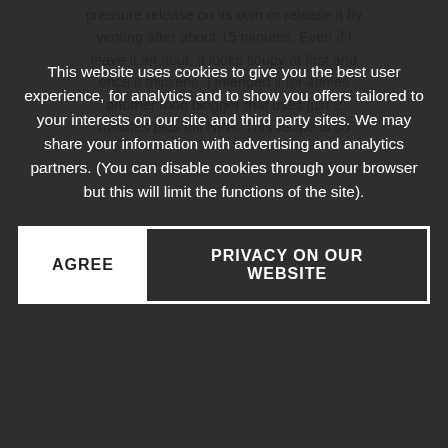pressure release on its own or release it by venting after about 15 minutes. Even if I leave it an hour, it looks soupy at first and once it thickens, I intended it for 4times another food blogger that uses just 2 minutes plus full NPR. This recipe is so
This website uses cookies to give you the best user experience, for analytics and to show you offers tailored to your interests on our site and third party sites. We may share your information with advertising and analytics partners. (You can disable cookies through your browser but this will limit the functions of the site).
AGREE
PRIVACY ON OUR WEBSITE
ned oatmilk, 2 C water, a little oven add a half to a 1 C canned pumpkin or whisk 2 Tb powdered peanut butter into the oatmilk before mixing that in the pot. That gives me 4 servings. Sometimes I add 1 Tb of maple syrup to make it slightly sweet and stir it well to make sure nothing is stuck to the bottom before sealing. I suspect some people who got a burn notice after browning oats in butter first may be able to avoid this with more careful stirring. I've been making steel cut oats in my IP for a few years and haven't had this problem, even with pre-heating on sauté and adding pumpkin, minced ginger, and a